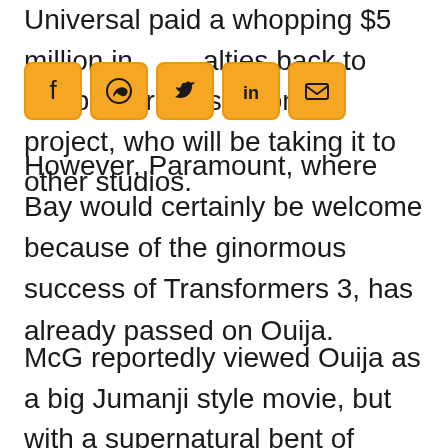Universal paid a whopping $5 million in penalties back to Hasbro for passing on the project, who will be taking it to other studios.
[Figure (infographic): Row of five social sharing icon buttons: Facebook, WhatsApp, Twitter, LinkedIn, Email — orange/yellow square icons with dark symbols]
However, Paramount, where Bay would certainly be welcome because of the ginormous success of Transformers 3, has already passed on Ouija.
McG reportedly viewed Ouija as a big Jumanji style movie, but with a supernatural bent of course. Lost writers Edward Kitsis and Adam Horowitz penned the script, with Sherlock